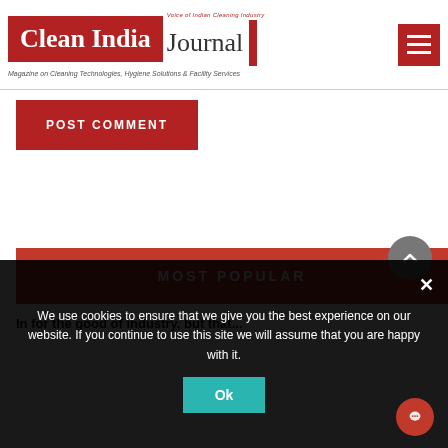[Figure (logo): Clean India Journal logo with red box, 'Voice of Indian Cleaning Industry' tagline, and vertical red bar]
Magazine on Cleaning Technologies, Hygiene Solutions & Facility Services
POST COMMENT
MOST POPULAR
We use cookies to ensure that we give you the best experience on our website. If you continue to use this site we will assume that you are happy with it.
Ok